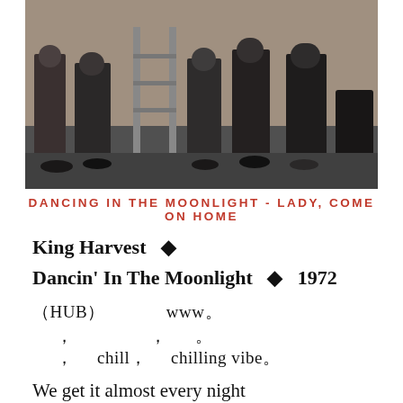[Figure (photo): Black and white photograph showing a group of people standing, legs and lower bodies visible, appearing to be a band photo from the early 1970s]
DANCING IN THE MOONLIGHT - LADY, COME ON HOME
King Harvest ◆
Dancin' In The Moonlight ◆ 1972
（HUB）　　　　　www。
，　　　，　　　。
，　chill，　chilling vibe。
We get it almost every night